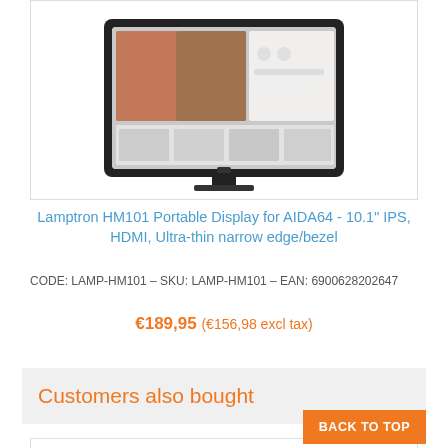[Figure (photo): Product photo of Lamptron HM101 portable display monitor showing a screen with colorful images, in a black frame with stand.]
Lamptron HM101 Portable Display for AIDA64 - 10.1" IPS, HDMI, Ultra-thin narrow edge/bezel
CODE: LAMP-HM101  -  SKU: LAMP-HM101  -  EAN: 6900628202647
€189,95  (€156,98  excl tax)
Customers also bought
[Figure (photo): Partial product image at the bottom of the page, showing what appears to be a white/silver flat item.]